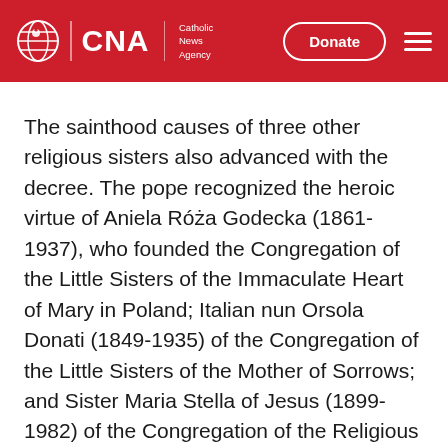CNA | Catholic News Agency
The sainthood causes of three other religious sisters also advanced with the decree. The pope recognized the heroic virtue of Aniela Róża Godecka (1861-1937), who founded the Congregation of the Little Sisters of the Immaculate Heart of Mary in Poland; Italian nun Orsola Donati (1849-1935) of the Congregation of the Little Sisters of the Mother of Sorrows; and Sister Maria Stella of Jesus (1899-1982) of the Congregation of the Religious of Mary Immaculate in Spain.